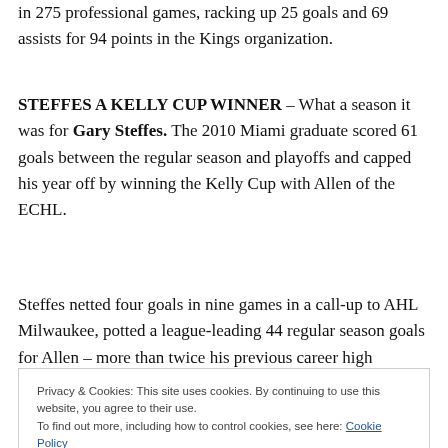in 275 professional games, racking up 25 goals and 69 assists for 94 points in the Kings organization.
STEFFES A KELLY CUP WINNER – What a season it was for Gary Steffes. The 2010 Miami graduate scored 61 goals between the regular season and playoffs and capped his year off by winning the Kelly Cup with Allen of the ECHL.
Steffes netted four goals in nine games in a call-up to AHL Milwaukee, potted a league-leading 44 regular season goals for Allen – more than twice his previous career high
Privacy & Cookies: This site uses cookies. By continuing to use this website, you agree to their use.
To find out more, including how to control cookies, see here: Cookie Policy